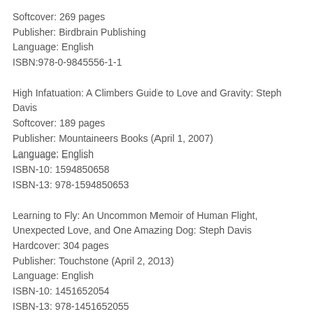Softcover: 269 pages
Publisher: Birdbrain Publishing
Language: English
ISBN:978-0-9845556-1-1
High Infatuation: A Climbers Guide to Love and Gravity: Steph Davis
Softcover: 189 pages
Publisher: Mountaineers Books (April 1, 2007)
Language: English
ISBN-10: 1594850658
ISBN-13: 978-1594850653
Learning to Fly: An Uncommon Memoir of Human Flight, Unexpected Love, and One Amazing Dog: Steph Davis
Hardcover: 304 pages
Publisher: Touchstone (April 2, 2013)
Language: English
ISBN-10: 1451652054
ISBN-13: 978-1451652055